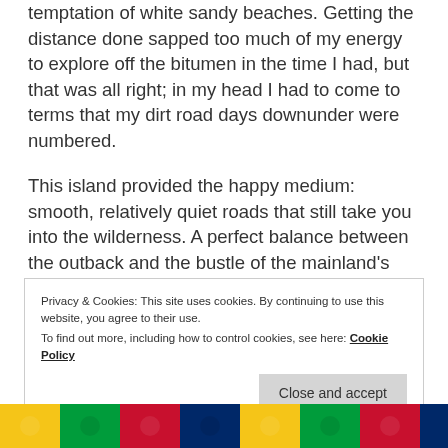temptation of white sandy beaches. Getting the distance done sapped too much of my energy to explore off the bitumen in the time I had, but that was all right; in my head I had to come to terms that my dirt road days downunder were numbered.
This island provided the happy medium: smooth, relatively quiet roads that still take you into the wilderness. A perfect balance between the outback and the bustle of the mainland's Southeast. It was the decompression chamber I needed.
Privacy & Cookies: This site uses cookies. By continuing to use this website, you agree to their use.
To find out more, including how to control cookies, see here: Cookie Policy
Close and accept
[Figure (photo): Colorful decorative strip with repeating pattern of green, yellow, and red colors at the bottom of the page]